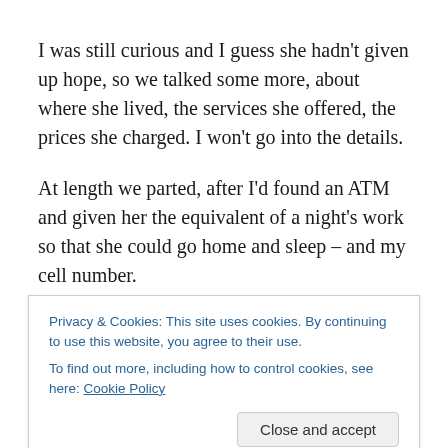I was still curious and I guess she hadn't given up hope, so we talked some more, about where she lived, the services she offered, the prices she charged. I won't go into the details.
At length we parted, after I'd found an ATM and given her the equivalent of a night's work so that she could go home and sleep – and my cell number.
We've met again since that and I've learned more about
Privacy & Cookies: This site uses cookies. By continuing to use this website, you agree to their use.
To find out more, including how to control cookies, see here: Cookie Policy
Close and accept
that's what her passport says) and she's from Nigeria, not